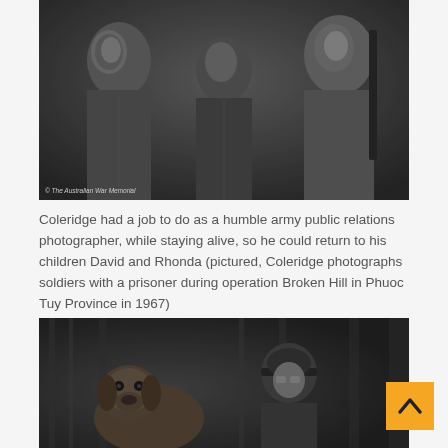[Figure (photo): Black and white photograph of soldiers with a prisoner in jungle setting, operation Broken Hill, Phuoc Tuy Province, 1967. Copyright The Australian War Memorial.]
Coleridge had a job to do as a humble army public relations photographer, while staying alive, so he could return to his children David and Rhonda (pictured, Coleridge photographs soldiers with a prisoner during operation Broken Hill in Phuoc Tuy Province in 1967)
[Figure (photo): Black and white photograph of a dog and soldier partially visible in jungle foliage.]